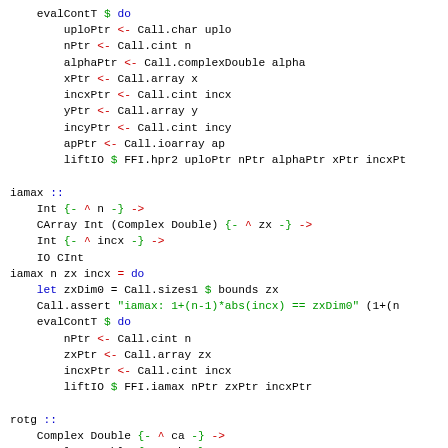Code snippet showing Haskell FFI bindings for BLAS/LAPACK operations including evalContT, iamax, and rotg functions